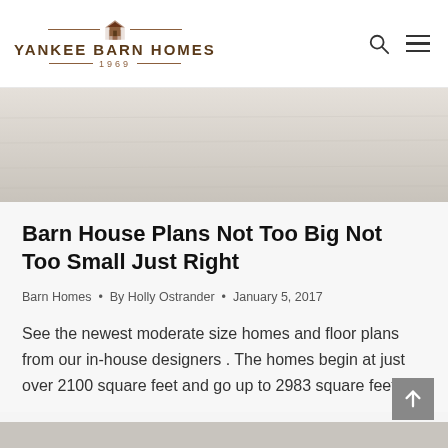YANKEE BARN HOMES 1969
[Figure (photo): Gray textured hero image, likely a wood or barn texture background]
Barn House Plans Not Too Big Not Too Small Just Right
Barn Homes • By Holly Ostrander • January 5, 2017
See the newest moderate size homes and floor plans from our in-house designers . The homes begin at just over 2100 square feet and go up to 2983 square feet...